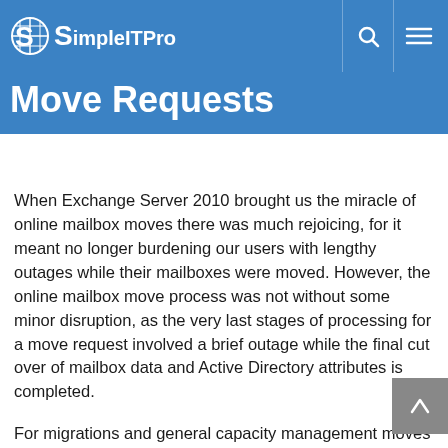SimpleITPro — Completion Of Mailbox Move Requests
Move Requests
When Exchange Server 2010 brought us the miracle of online mailbox moves there was much rejoicing, for it meant no longer burdening our users with lengthy outages while their mailboxes were moved. However, the online mailbox move process was not without some minor disruption, as the very last stages of processing for a move request involved a brief outage while the final cut over of mailbox data and Active Directory attributes is completed.
For migrations and general capacity management moves the standard approach for performing mailbox moves with the least